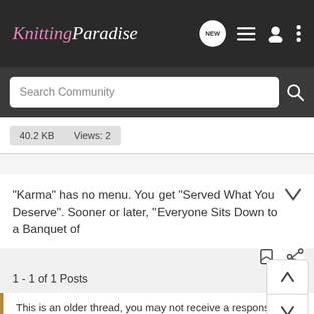Knitting Paradise
Search Community
40.2 KB   Views: 2
"Karma" has no menu. You get "Served What You Deserve". Sooner or later, "Everyone Sits Down to a Banquet of
1 - 1 of 1 Posts
This is an older thread, you may not receive a response, and could be reviving an old thread. Please consider creating a new thread.
Join the discussion